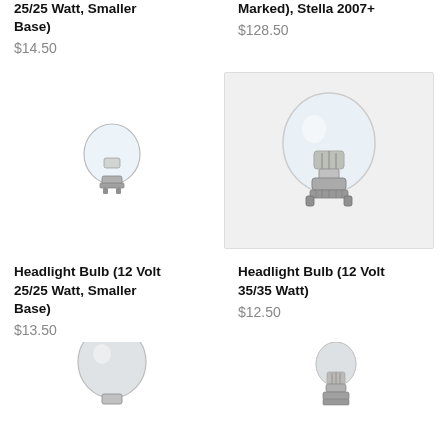25/25 Watt, Smaller Base)
$14.50
Marked), Stella 2007+
$128.50
[Figure (photo): Small headlight bulb with bayonet base]
[Figure (photo): Large headlight bulb (12 Volt 35/35 Watt) with bayonet base]
Headlight Bulb (12 Volt 25/25 Watt, Smaller Base)
$13.50
Headlight Bulb (12 Volt 35/35 Watt)
$12.50
[Figure (photo): Bottom-left bulb product image]
[Figure (photo): Bottom-right bulb product image]